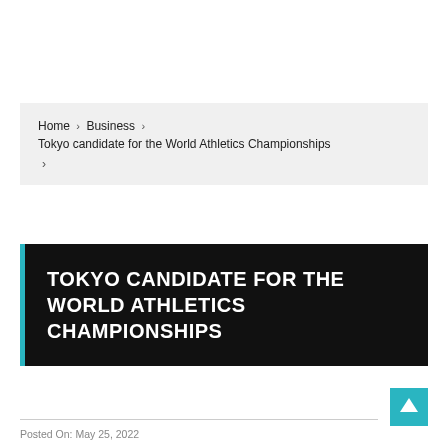Home › Business › Tokyo candidate for the World Athletics Championships ›
TOKYO CANDIDATE FOR THE WORLD ATHLETICS CHAMPIONSHIPS
Posted On: May 25, 2022